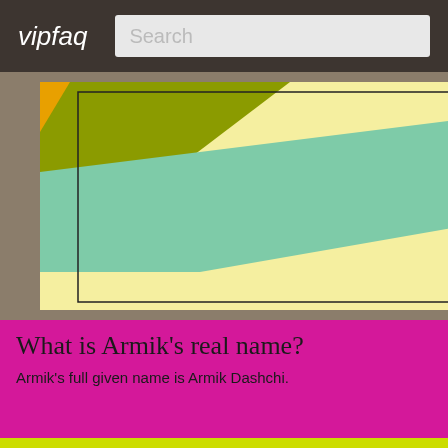vipfaq  Search
[Figure (illustration): Colorful diagonal stripe image — yellow-green, teal/mint, and pale yellow bands on a tan/brown background with a thin black border rectangle]
What is Armik's real name?
Armik's full given name is Armik Dashchi.
What is Armik's official